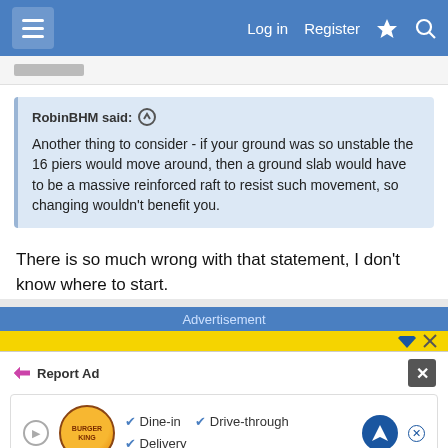Log in   Register
RobinBHM said: ↑
Another thing to consider - if your ground was so unstable the 16 piers would move around, then a ground slab would have to be a massive reinforced raft to resist such movement, so changing wouldn't benefit you.
There is so much wrong with that statement, I don't know where to start.
↩ Reply
Advertisement
Report Ad
[Figure (screenshot): Burger King advertisement showing logo with Dine-in, Drive-through, and Delivery checkmarks, plus a navigation arrow icon]